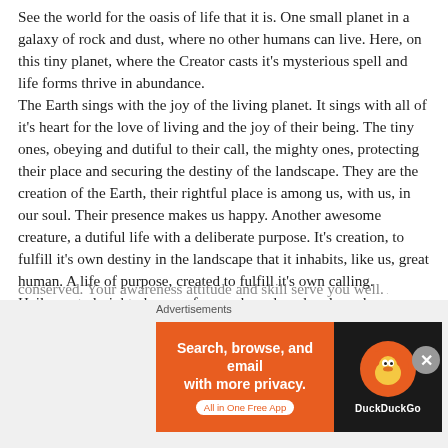See the world for the oasis of life that it is. One small planet in a galaxy of rock and dust, where no other humans can live. Here, on this tiny planet, where the Creator casts it's mysterious spell and life forms thrive in abundance. The Earth sings with the joy of the living planet. It sings with all of it's heart for the love of living and the joy of their being. The tiny ones, obeying and dutiful to their call, the mighty ones, protecting their place and securing the destiny of the landscape. They are the creation of the Earth, their rightful place is among us, with us, in our soul. Their presence makes us happy. Another awesome creature, a dutiful life with a deliberate purpose. It's creation, to fulfill it's own destiny in the landscape that it inhabits, like us, great human. A life of purpose, created to fulfill it's own calling. Hail, great almighty human, for you have loved and you have
[partial line cut off at bottom]
Advertisements
[Figure (other): DuckDuckGo advertisement banner. Left side orange background with white text: 'Search, browse, and email with more privacy.' and white pill button 'All in One Free App'. Right side dark background with DuckDuckGo duck logo circle and 'DuckDuckGo' text.]